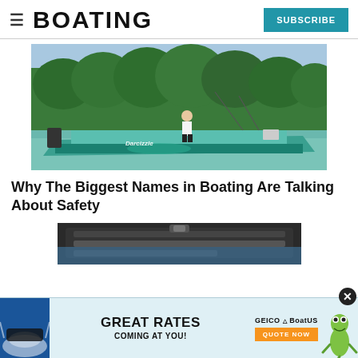BOATING
[Figure (photo): A woman standing on a colorful teal fishing boat on a calm river with lush green trees in the background. The boat has decorative graphics.]
Why The Biggest Names in Boating Are Talking About Safety
[Figure (photo): Close-up of a black protective case or equipment related to boating safety.]
[Figure (photo): Advertisement banner: GREAT RATES COMING AT YOU! with GEICO BoatUS logo, QUOTE NOW button, and gecko mascot image.]